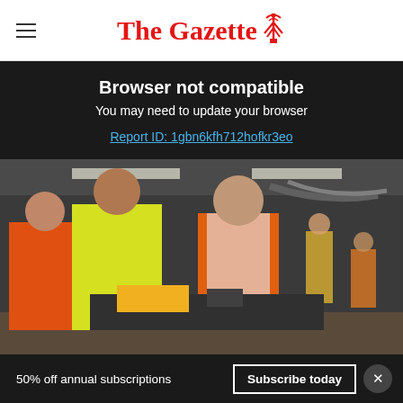The Gazette
Browser not compatible
You may need to update your browser
Report ID: 1gbn6kfh712hofkr3eo
[Figure (photo): People in high-visibility vests in an industrial/engineering facility. A young man in a yellow hi-vis vest handles equipment while an older man in an orange hi-vis vest observes. Other workers visible in background.]
50% off annual subscriptions    Subscribe today